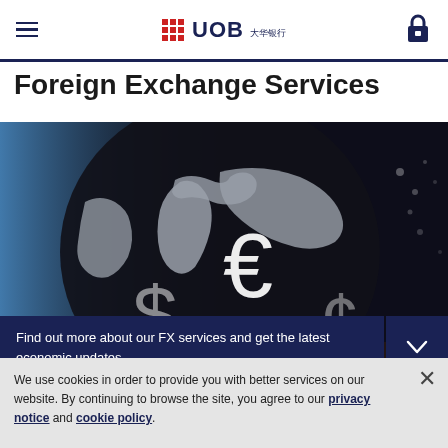UOB — Foreign Exchange Services page header with hamburger menu and lock icon
Foreign Exchange Services
[Figure (photo): Dark globe with world map and currency symbols (euro €, dollar $) overlaid, held by hands, with blue digital background]
Find out more about our FX services and get the latest economic updates
Contact us
We use cookies in order to provide you with better services on our website. By continuing to browse the site, you agree to our privacy notice and cookie policy.